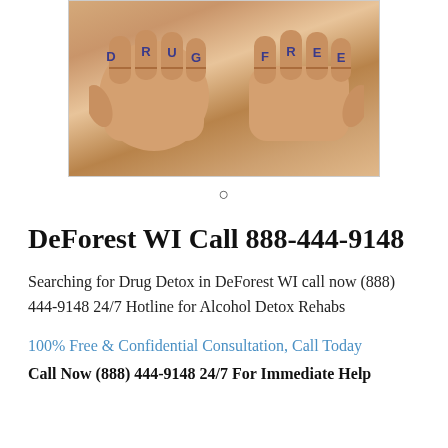[Figure (photo): Two fists held up with 'DRUG FREE' written in blue marker across the knuckles, one letter per finger. Skin-toned hands against a light background.]
DeForest WI Call 888-444-9148
Searching for Drug Detox in DeForest WI call now (888) 444-9148 24/7 Hotline for Alcohol Detox Rehabs
100% Free & Confidential Consultation, Call Today
Call Now (888) 444-9148 24/7 For Immediate Help